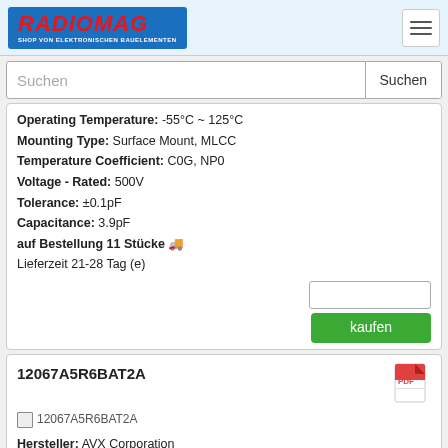RADIOMAG - SHOP VON ELEKTRONISCHEN BAUELEMENTEN
Suchen
Operating Temperature: -55°C ~ 125°C
Mounting Type: Surface Mount, MLCC
Temperature Coefficient: C0G, NP0
Voltage - Rated: 500V
Tolerance: ±0.1pF
Capacitance: 3.9pF
auf Bestellung 11 Stücke
Lieferzeit 21-28 Tag (e)
12067A5R6BAT2A
[Figure (other): Broken image placeholder for 12067A5R6BAT2A]
Hersteller: AVX Corporation
Description: CAP CER 5.6PF 500V NP0 1206
Thickness (Max): 0.037" (0.94mm)
Size / Dimension: 0.126" L x 0.063" W (3.20mm x 1.60mm)
Package / Case: 1206 (3216 Metric)
Applications: General Purpose
Operating Temperature: -55°C ~ 125°C
Mounting Type: Surface Mount, MLCC